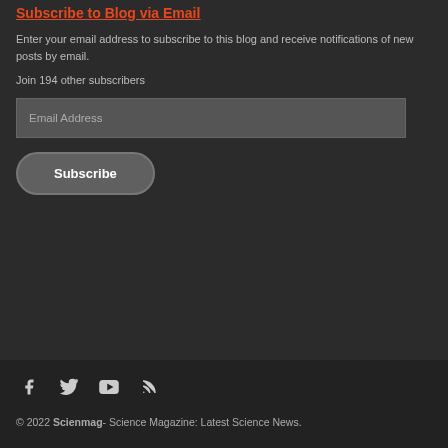Subscribe to Blog via Email
Enter your email address to subscribe to this blog and receive notifications of new posts by email.
Join 194 other subscribers
© 2022 Scienmag- Science Magazine: Latest Science News.